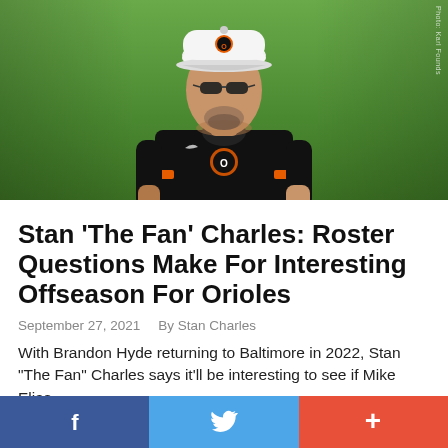[Figure (photo): Brandon Hyde, Baltimore Orioles manager, wearing black Orioles uniform with orange trim and white Orioles cap with bird logo, standing on a green field/grass background.]
Stan ‘The Fan’ Charles: Roster Questions Make For Interesting Offseason For Orioles
September 27, 2021    By Stan Charles
With Brandon Hyde returning to Baltimore in 2022, Stan “The Fan” Charles says it’ll be interesting to see if Mike Elias
[Figure (infographic): Social share bar with three buttons: Facebook (blue, f icon), Twitter (light blue, bird icon), and a red plus button]